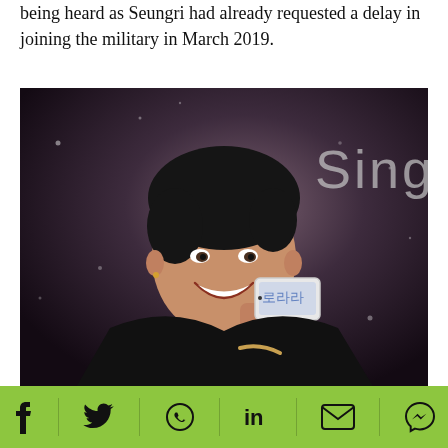being heard as Seungri had already requested a delay in joining the military in March 2019.
[Figure (photo): Photo of Seungri (K-pop artist) smiling and holding up a white smartphone, wearing a black outfit, in front of a dark sparkly background with the word 'Sing' visible.]
(Reuters)
Social share bar with icons: Facebook, Twitter, WhatsApp, LinkedIn, Email, Messenger